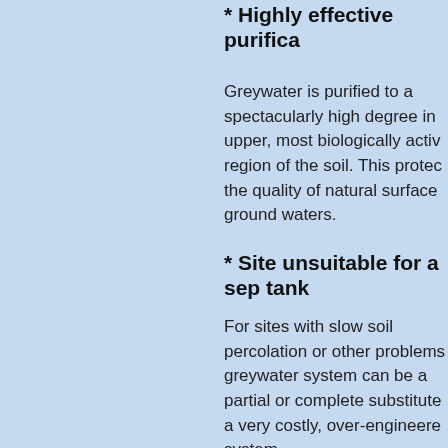* Highly effective purifica
Greywater is purified to a spectacularly high degree in upper, most biologically activ region of the soil. This protec the quality of natural surface ground waters.
* Site unsuitable for a sep tank
For sites with slow soil percolation or other problems greywater system can be a partial or complete substitute a very costly, over-engineere system.
* Less energy and chemica use
Less energy and chemicals a used due to the reduced am